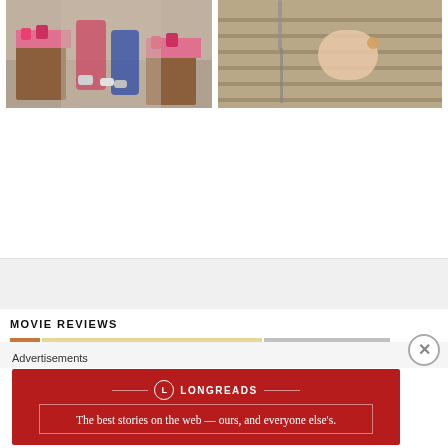[Figure (photo): Two women sitting on stone steps with pink flower planters]
[Figure (photo): Close-up of a hand holding a small object on wooden deck boards]
MOVIE REVIEWS
[Figure (photo): Movie review thumbnail image strip]
Advertisements
[Figure (infographic): Longreads advertisement banner: The best stories on the web — ours, and everyone else's.]